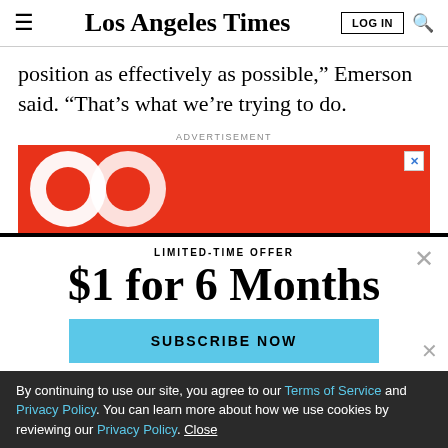Los Angeles Times
position as effectively as possible,” Emerson said. “That’s what we’re trying to do.
ADVERTISEMENT
[Figure (other): Red advertisement banner with circular logo graphic]
LIMITED-TIME OFFER
$1 for 6 Months
SUBSCRIBE NOW
By continuing to use our site, you agree to our Terms of Service and Privacy Policy. You can learn more about how we use cookies by reviewing our Privacy Policy. Close